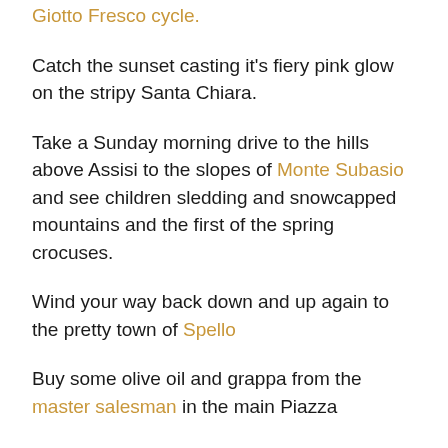Giotto Fresco cycle.
Catch the sunset casting it's fiery pink glow on the stripy Santa Chiara.
Take a Sunday morning drive to the hills above Assisi to the slopes of Monte Subasio and see children sledding and snowcapped mountains and the first of the spring crocuses.
Wind your way back down and up again to the pretty town of Spello
Buy some olive oil and grappa from the master salesman in the main Piazza